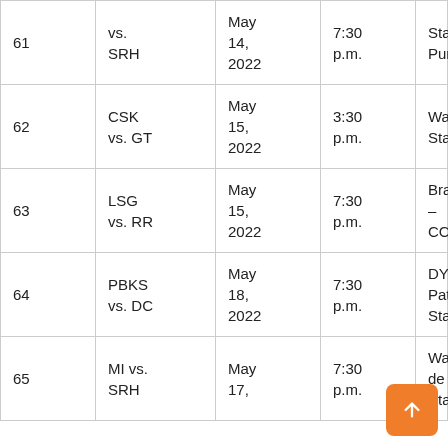| # | Match | Date | Time | Venue |
| --- | --- | --- | --- | --- |
| 61 | vs.
SRH | May 14, 2022 | 7:30 p.m. | Stadium, Pune |
| 62 | CSK vs. GT | May 15, 2022 | 3:30 p.m. | Wankhede Stadium |
| 63 | LSG vs. RR | May 15, 2022 | 7:30 p.m. | Brabourne – CCI |
| 64 | PBKS vs. DC | May 18, 2022 | 7:30 p.m. | DY Patil Stadium |
| 65 | MI vs. SRH | May 17, | 7:30 p.m. | Wankhede Stadium |